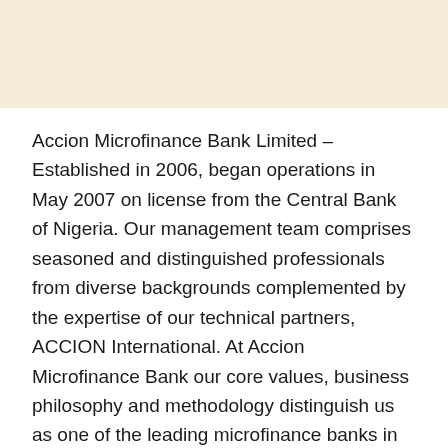[Figure (other): Decorative cream/beige banner at the top of the page]
Accion Microfinance Bank Limited – Established in 2006, began operations in May 2007 on license from the Central Bank of Nigeria. Our management team comprises seasoned and distinguished professionals from diverse backgrounds complemented by the expertise of our technical partners, ACCION International. At Accion Microfinance Bank our core values, business philosophy and methodology distinguish us as one of the leading microfinance banks in Nigeria.
We are recruiting to fill the position below: